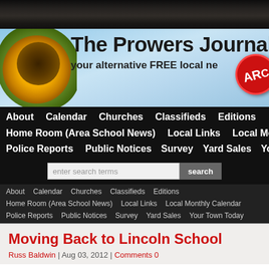[Figure (illustration): Dark wood texture banner at the top of the page]
[Figure (illustration): The Prowers Journal newspaper banner with sunflower, blue sky, bold title text 'The Prowers Journal', subtitle 'your alternative FREE local ne...', and red ARC stamp circle]
About  Calendar  Churches  Classifieds  Editions
Home Room (Area School News)  Local Links  Local Monthly Calendar
Police Reports  Public Notices  Survey  Yard Sales  Your Town Today
[Figure (screenshot): Search bar with input field 'enter search terms' and 'search' button]
About  Calendar  Churches  Classifieds  Editions
Home Room (Area School News)  Local Links  Local Monthly Calendar
Police Reports  Public Notices  Survey  Yard Sales  Your Town Today
Moving Back to Lincoln School
Russ Baldwin | Aug 03, 2012 | Comments 0